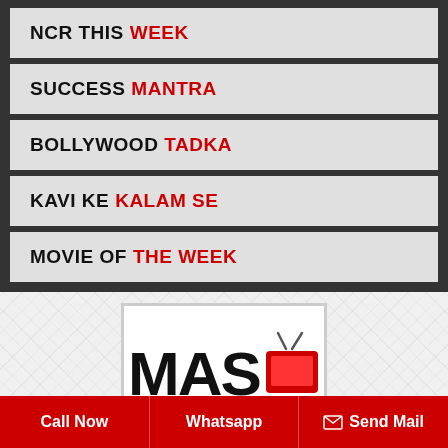NCR THIS WEEK
SUCCESS MANTRA
BOLLYWOOD TADKA
KAVI KE KALAM SE
MOVIE OF THE WEEK
[Figure (logo): MAS TV channel logo with bold black letters and red TV icon]
Call Now   Whatsapp   Send Mail